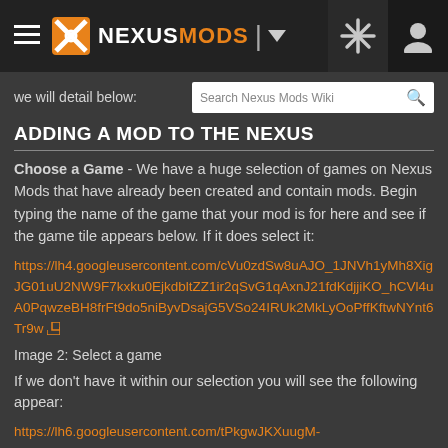NEXUSMODS
we will detail below:
ADDING A MOD TO THE NEXUS
Choose a Game - We have a huge selection of games on Nexus Mods that have already been created and contain mods. Begin typing the name of the game that your mod is for here and see if the game tile appears below. If it does select it:
https://lh4.googleusercontent.com/cVu0zdSw8uAJO_1JNVh1yMh8XigJG01uU2NW9F7kxku0EjkdbltZZ1ir2qSvG1qAxnJ21fdKdjjiKO_hCVl4uA0PqwzeBH8frFt9do5niByvDsajG5VSo24IRUk2MkLyOoPffKftwNYnt6Tr9w
Image 2: Select a game
If we don't have it within our selection you will see the following appear:
https://lh6.googleusercontent.com/tPkgwJKXuugM-